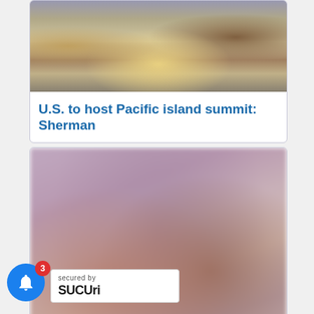[Figure (photo): Photo of people seated in a formal meeting room, with floral arrangement on a table in the center]
U.S. to host Pacific island summit: Sherman
[Figure (photo): Blurred/pixelated photo with pink and brown tones]
No Fiji-China security pact, Rabuka says
secured by
Sucuri
3